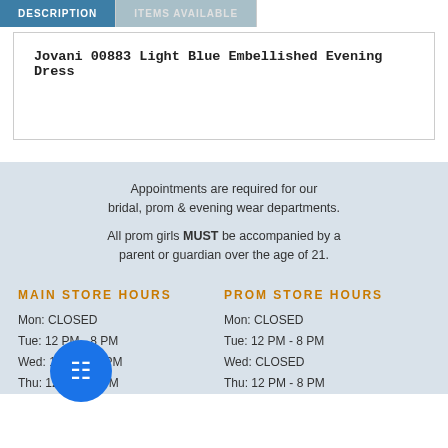DESCRIPTION
ITEMS AVAILABLE
Jovani 00883 Light Blue Embellished Evening Dress
Appointments are required for our bridal, prom & evening wear departments.
All prom girls MUST be accompanied by a parent or guardian over the age of 21.
MAIN STORE HOURS
PROM STORE HOURS
Mon: CLOSED
Tue: 12 PM - 8 PM
Wed: 12 PM - 8 PM
Thu: 12 PM - 8 PM
Mon: CLOSED
Tue: 12 PM - 8 PM
Wed: CLOSED
Thu: 12 PM - 8 PM